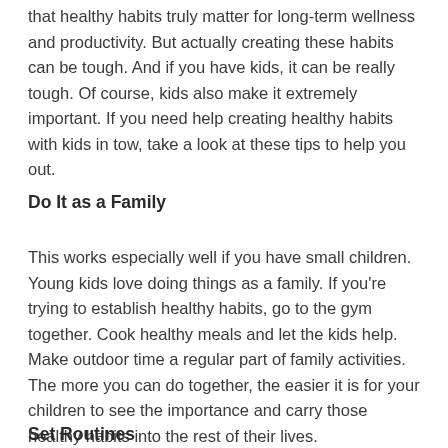that healthy habits truly matter for long-term wellness and productivity. But actually creating these habits can be tough. And if you have kids, it can be really tough. Of course, kids also make it extremely important. If you need help creating healthy habits with kids in tow, take a look at these tips to help you out.
Do It as a Family
This works especially well if you have small children. Young kids love doing things as a family. If you're trying to establish healthy habits, go to the gym together. Cook healthy meals and let the kids help. Make outdoor time a regular part of family activities. The more you can do together, the easier it is for your children to see the importance and carry those healthy habits into the rest of their lives.
Set Routines